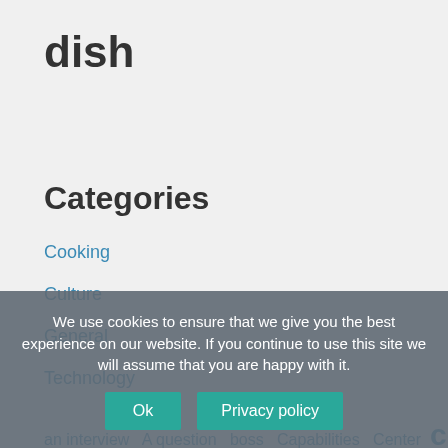dish
Categories
Cooking
Culture
General
Technology
an interview  A question  boss  Capabilities  Center  comp
cooking  Countries  Doctor  Donbass  Economie  Events
experts  forum  had become  health  Health Care  helps
important news  Med  newsletter
We use cookies to ensure that we give you the best experience on our website. If you continue to use this site we will assume that you are happy with it.